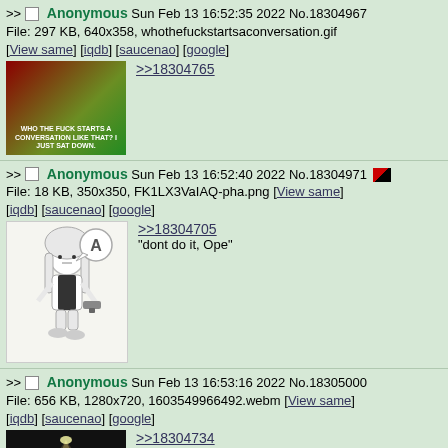>> Anonymous Sun Feb 13 16:52:35 2022 No.18304967
File: 297 KB, 640x358, whothefuckstartsaconversation.gif
[View same] [iqdb] [saucenao] [google]
[Figure (screenshot): Animated GIF thumbnail from Family Guy showing two characters, text: WHO THE FUCK STARTS A CONVERSATION LIKE THAT? I JUST SAT DOWN]
>>18304765
>> Anonymous Sun Feb 13 16:52:40 2022 No.18304971
File: 18 KB, 350x350, FK1LX3VaIAQ-pha.png [View same]
[iqdb] [saucenao] [google]
[Figure (illustration): Anime chibi character illustration with speech bubble containing A]
>>18304705
"dont do it, Ope"
>> Anonymous Sun Feb 13 16:53:16 2022 No.18305000
File: 656 KB, 1280x720, 1603549966492.webm [View same]
[iqdb] [saucenao] [google]
[Figure (screenshot): Dark video thumbnail showing a character with spotlight]
>>18304734
YURERL MAWARU
FURERL SETSUNA A A A I